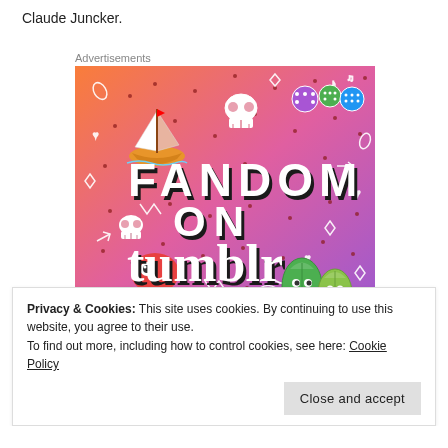Claude Juncker.
Advertisements
[Figure (illustration): Tumblr advertisement banner with colorful gradient background (orange to purple) featuring 'FANDOM ON tumblr' text in bold black letters with shadow, decorated with doodle illustrations including a sailboat, skull, octopus, green leaf characters, dice, musical notes, arrows, hearts, and other whimsical drawings.]
REPORT THIS AD
Privacy & Cookies: This site uses cookies. By continuing to use this website, you agree to their use.
To find out more, including how to control cookies, see here: Cookie Policy
Close and accept